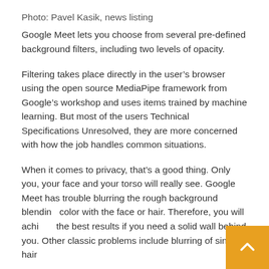Photo: Pavel Kasik, news listing
Google Meet lets you choose from several pre-defined background filters, including two levels of opacity.
Filtering takes place directly in the user's browser using the open source MediaPipe framework from Google's workshop and uses items trained by machine learning. But most of the users Technical Specifications Unresolved, they are more concerned with how the job handles common situations.
When it comes to privacy, that's a good thing. Only you, your face and your torso will really see. Google Meet has trouble blurring the rough background blending color with the face or hair. Therefore, you will achieve the best results if you need a solid wall behind you. Other classic problems include blurring of single hair